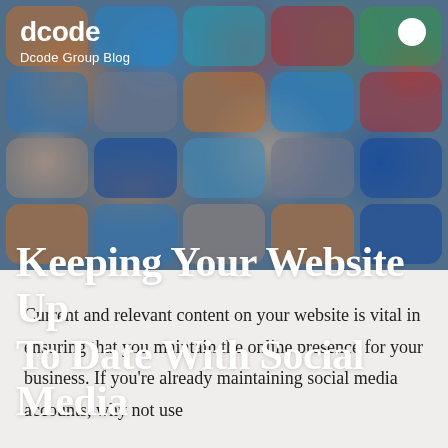[Figure (photo): Background image of social media app icons (tiles with rounded corners) being touched by a finger, shown in a grid pattern with various brand colors]
dcode
Dcode Group Blog
Keeping Your Website Up To Date With Social Media
Current and relevant content on your website is vital in ensuring that you maintain the online presence for your business. If you're already maintaining social media accounts, why not use